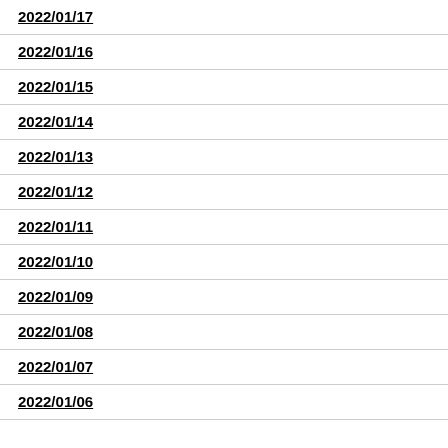2022/01/17
2022/01/16
2022/01/15
2022/01/14
2022/01/13
2022/01/12
2022/01/11
2022/01/10
2022/01/09
2022/01/08
2022/01/07
2022/01/06